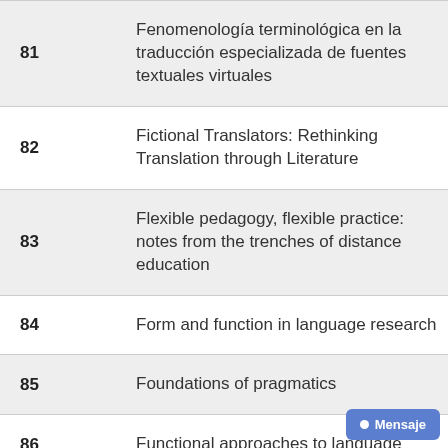81  Fenomenología terminológica en la traducción especializada de fuentes textuales virtuales
82  Fictional Translators: Rethinking Translation through Literature
83  Flexible pedagogy, flexible practice: notes from the trenches of distance education
84  Form and function in language research
85  Foundations of pragmatics
86  Functional approaches to language